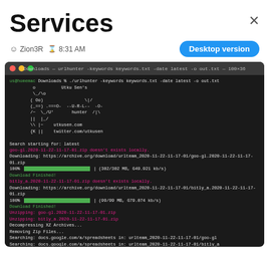Services
Zion3R  8:31 AM
[Figure (screenshot): Terminal window showing urlhunter tool running, downloading goo.gl and bitly archives from archive.org, with ASCII art logo for Utku Sen's URL hunter tool, progress bars, and search output for docs.google.com/a/spreadsheets.]